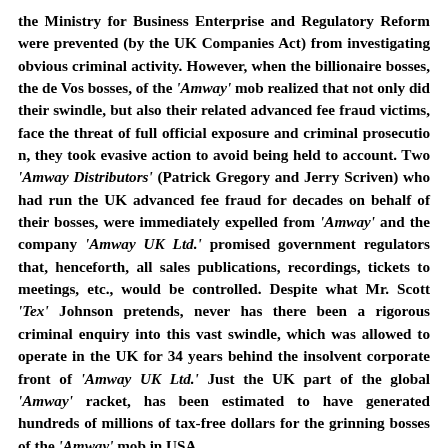the Ministry for Business Enterprise and Regulatory Reform were prevented (by the UK Companies Act) from investigating obvious criminal activity. However, when the billionaire bosses, the de Vos bosses, of the 'Amway' mob realized that not only did their swindle, but also their related advanced fee fraud victims, face the threat of full official exposure and criminal prosecution, they took evasive action to avoid being held to account. Two 'Amway Distributors' (Patrick Gregory and Jerry Scriven) who had run the UK advanced fee fraud for decades on behalf of their bosses, were immediately expelled from 'Amway' and the company 'Amway UK Ltd.' promised government regulators that, henceforth, all sales publications, recordings, tickets to meetings, etc., would be controlled. Despite what Mr. Scott 'Tex' Johnson pretends, never has there been a rigorous criminal enquiry into this vast swindle, which was allowed to operate in the UK for 34 years behind the insolvent corporate front of 'Amway UK Ltd.' Just the UK part of the global 'Amway' racket, has been estimated to have generated hundreds of millions of tax-free dollars for the grinning bosses of the 'Amway' mob in USA.
It's no wonder that the squawking 'Amway' Lord Haw